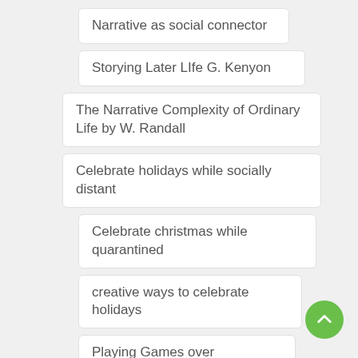Narrative as social connector
Storying Later LIfe G. Kenyon
The Narrative Complexity of Ordinary Life by W. Randall
Celebrate holidays while socially distant
Celebrate christmas while quarantined
creative ways to celebrate holidays
Playing Games over videoconference
Tell life story
Christmas gift ideas for elderly